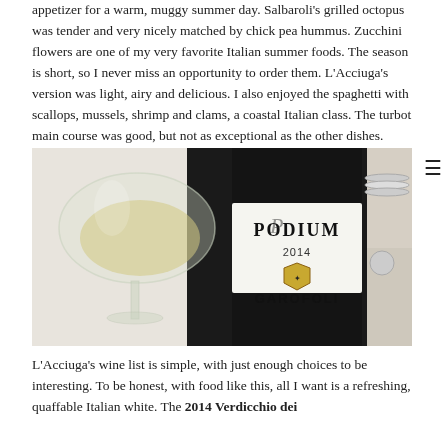appetizer for a warm, muggy summer day. Salbaroli's grilled octopus was tender and very nicely matched by chick pea hummus. Zucchini flowers are one of my very favorite Italian summer foods. The season is short, so I never miss an opportunity to order them. L'Acciuga's version was light, airy and delicious. I also enjoyed the spaghetti with scallops, mussels, shrimp and clams, a coastal Italian class. The turbot main course was good, but not as exceptional as the other dishes.
[Figure (photo): Photo of a wine glass with white wine next to a dark wine bottle labeled Podium 2014 Garofoli, on a restaurant table]
L'Acciuga's wine list is simple, with just enough choices to be interesting. To be honest, with food like this, all I want is a refreshing, quaffable Italian white. The 2014 Verdicchio dei